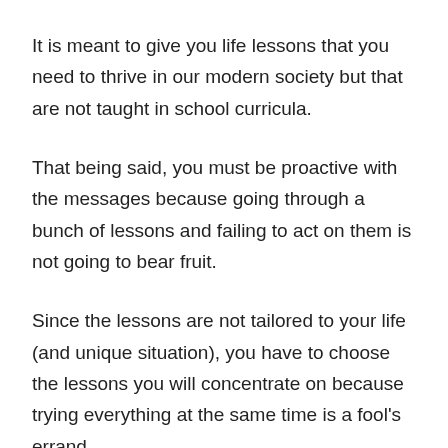It is meant to give you life lessons that you need to thrive in our modern society but that are not taught in school curricula.
That being said, you must be proactive with the messages because going through a bunch of lessons and failing to act on them is not going to bear fruit.
Since the lessons are not tailored to your life (and unique situation), you have to choose the lessons you will concentrate on because trying everything at the same time is a fool's errand.